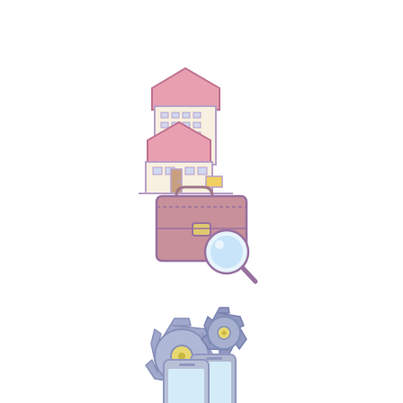[Figure (illustration): Icon of two houses/buildings stacked - a larger cream/beige building with pink/red roof behind a smaller house with windows and a door, in flat illustration style with purple outlines]
[Figure (illustration): Icon of a brown briefcase/portfolio bag with a magnifying glass overlaid on the bottom right, in flat illustration style with purple outlines]
[Figure (illustration): Icon of two interlocking gear/cog wheels in blue-grey color with yellow centers, in flat illustration style]
[Figure (illustration): Icon of two smartphones/mobile devices side by side in blue-grey color with light blue screens, in flat illustration style with purple outlines - partially visible at bottom]